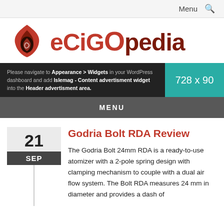Menu 🔍
[Figure (logo): ECIGOPEDIA logo with flame/drop icon in red and dark red, and bold text ECIGOPEDIA]
[Figure (infographic): Ad banner placeholder: dark background with text about Appearance > Widgets in WordPress dashboard and a teal box showing 728 x 90]
MENU
Godria Bolt RDA Review
The Godria Bolt 24mm RDA is a ready-to-use atomizer with a 2-pole spring design with clamping mechanism to couple with a dual air flow system. The Bolt RDA measures 24 mm in diameter and provides a dash of